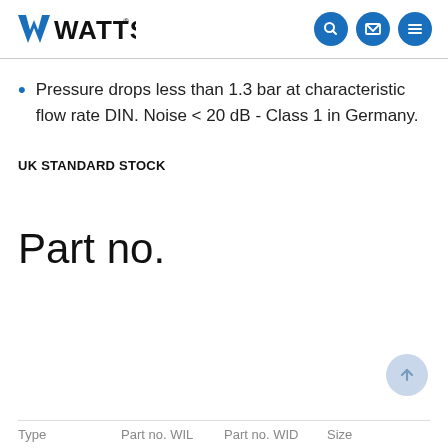WATTS [logo with search, mail, menu icons]
Pressure drops less than 1.3 bar at characteristic flow rate DIN. Noise < 20 dB - Class 1 in Germany.
UK STANDARD STOCK
Part no.
| Type | Part no. WIL | Part no. WID | Size |
| --- | --- | --- | --- |